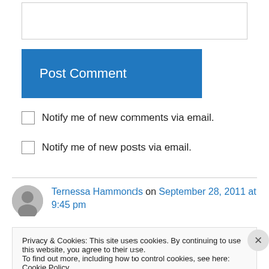[Figure (screenshot): Text input box (comment field) at top of page]
Post Comment
Notify me of new comments via email.
Notify me of new posts via email.
Ternessa Hammonds on September 28, 2011 at 9:45 pm
Privacy & Cookies: This site uses cookies. By continuing to use this website, you agree to their use.
To find out more, including how to control cookies, see here: Cookie Policy
Close and accept